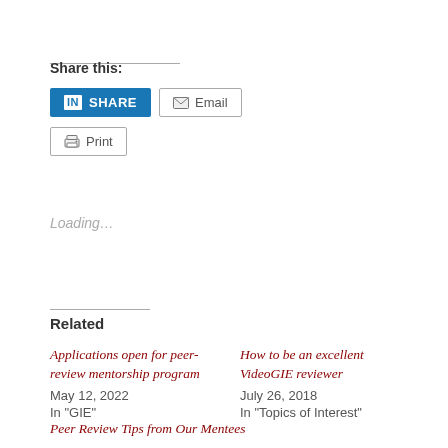Share this:
SHARE (LinkedIn) | Email | Print
Loading...
Related
Applications open for peer-review mentorship program
May 12, 2022
In "GIE"
How to be an excellent VideoGIE reviewer
July 26, 2018
In "Topics of Interest"
Peer Review Tips from Our Mentees